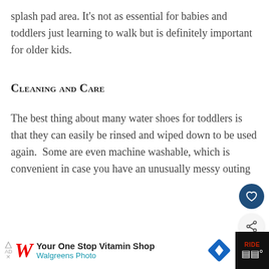splash pad area. It’s not as essential for babies and toddlers just learning to walk but is definitely important for older kids.
Cleaning and Care
The best thing about many water shoes for toddlers is that they can easily be rinsed and wiped down to be used again. Some are even machine washable, which is convenient in case you have an unusually messy outing
Best Kids Water Shoes
WHAT’S NEXT → 7 Best Strollers for...
Your One Stop Vitamin Shop Walgreens Photo